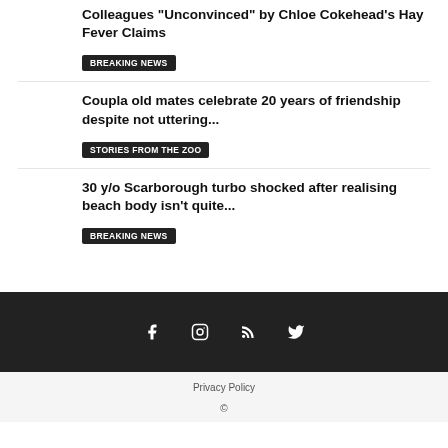Colleagues "Unconvinced" by Chloe Cokehead's Hay Fever Claims
BREAKING NEWS
Coupla old mates celebrate 20 years of friendship despite not uttering...
Stories from the zoo
30 y/o Scarborough turbo shocked after realising beach body isn't quite...
BREAKING NEWS
Privacy Policy ©